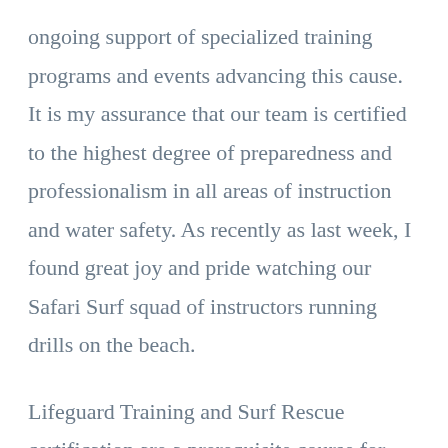ongoing support of specialized training programs and events advancing this cause. It is my assurance that our team is certified to the highest degree of preparedness and professionalism in all areas of instruction and water safety. As recently as last week, I found great joy and pride watching our Safari Surf squad of instructors running drills on the beach.
Lifeguard Training and Surf Rescue certification are a prerequisite course for inclusion in the International Surfing Association's (ISA) professional development programs.